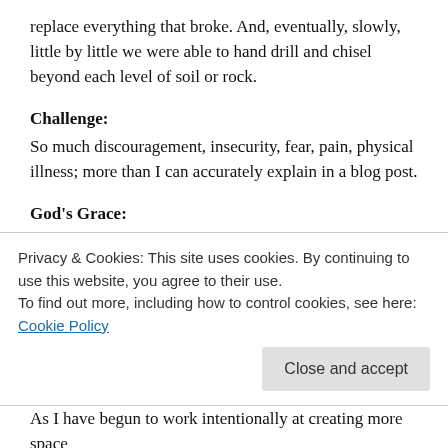replace everything that broke. And, eventually, slowly, little by little we were able to hand drill and chisel beyond each level of soil or rock.
Challenge:
So much discouragement, insecurity, fear, pain, physical illness; more than I can accurately explain in a blog post.
God's Grace:
Every single time, before we encountered any issues or problems, someone lead a devotional in the morning that tied directly to what we needed to hear, or someone shared a word or passage of scripture that resonated and sustained us through.
Privacy & Cookies: This site uses cookies. By continuing to use this website, you agree to their use.
To find out more, including how to control cookies, see here: Cookie Policy
As I have begun to work intentionally at creating more space